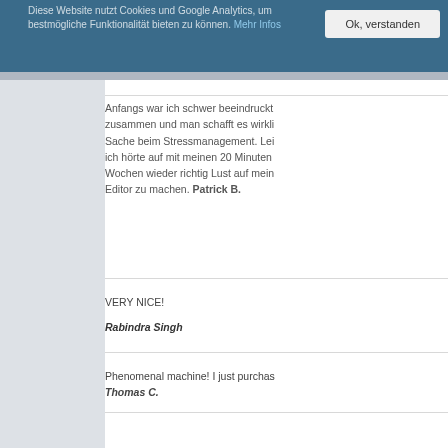Diese Website nutzt Cookies und Google Analytics, um bestmögliche Funktionalität bieten zu können. Mehr Infos
Anfangs war ich schwer beeindruckt zusammen und man schafft es wirkli Sache beim Stressmanagement. Lei ich hörte auf mit meinen 20 Minuten Wochen wieder richtig Lust auf mein Editor zu machen. Patrick B.
VERY NICE!
Rabindra Singh
Phenomenal machine! I just purchas Thomas C.